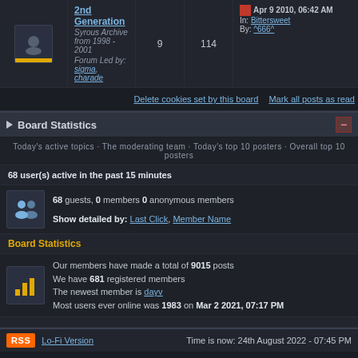| Icon | Forum | Posts | Topics | Last Post |
| --- | --- | --- | --- | --- |
| [icon] | 2nd Generation
Syrous Archive from 1998 - 2001
Forum Led by: sigma, charade | 9 | 114 | Apr 9 2010, 06:42 AM
In: Bittersweet
By: ^666^ |
Delete cookies set by this board   Mark all posts as read
Board Statistics
Today's active topics · The moderating team · Today's top 10 posters · Overall top 10 posters
68 user(s) active in the past 15 minutes
68 guests, 0 members 0 anonymous members
Show detailed by: Last Click, Member Name
Board Statistics
Our members have made a total of 9015 posts
We have 681 registered members
The newest member is dayv
Most users ever online was 1983 on Mar 2 2021, 07:17 PM
RSS   Lo-Fi Version   Time is now: 24th August 2022 - 07:45 PM
Invision Power Board v2.1.7 © 2022  IPS, Inc.
Licensed to: cydonian.com